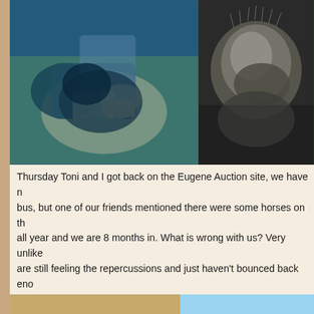[Figure (photo): Top left photo: person's hand touching/petting a dark-colored dog or animal with blue-tinted fur]
[Figure (photo): Top right photo: close-up of a dark/grey furry animal]
Thursday Toni and I got back on the Eugene Auction site, we have no bus, but one of our friends mentioned there were some horses on the all year and we are 8 months in. What is wrong with us? Very unlike are still feeling the repercussions and just haven't bounced back eno to buy. Then Jeannie and Sonny got involved, the list got longer. St foal to the Youth Heritage Program. It is a great program and we enc were going to get the cows in this weekend and sort out the cull cow the Eugene website and Toni yelled at me to stop bidding. Lots of fu
[Figure (photo): Bottom left photo: two brown/buckskin horses standing together in a dirt pen with metal fencing]
[Figure (photo): Bottom right photo: a palomino horse facing the camera with blue sky background and metal fencing]